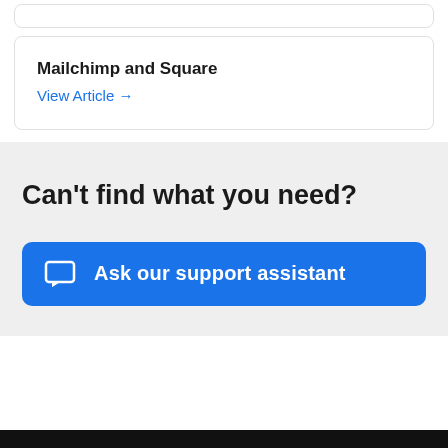Mailchimp and Square
View Article →
Can't find what you need?
Ask our support assistant